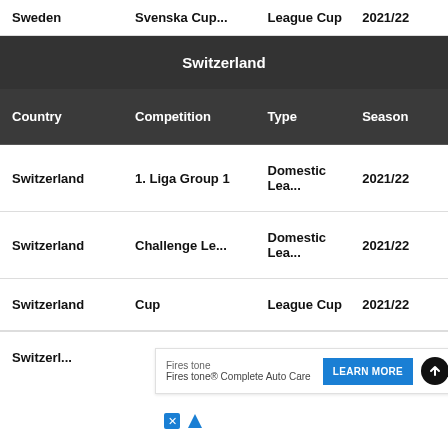| Country | Competition | Type | Season |
| --- | --- | --- | --- |
| Sweden | Svenska Cup... | League Cup | 2021/22 |
| Switzerland |  |  |  |
| Switzerland | 1. Liga Group 1 | Domestic Lea... | 2021/22 |
| Switzerland | Challenge Le... | Domestic Lea... | 2021/22 |
| Switzerland | Cup | League Cup | 2021/22 |
| Switzerl... |  |  | 2 |
| Switzerl... |  |  | 2 |
[Figure (screenshot): Advertisement overlay: Firestone Complete Auto Care with LEARN MORE button and scroll-to-top button]